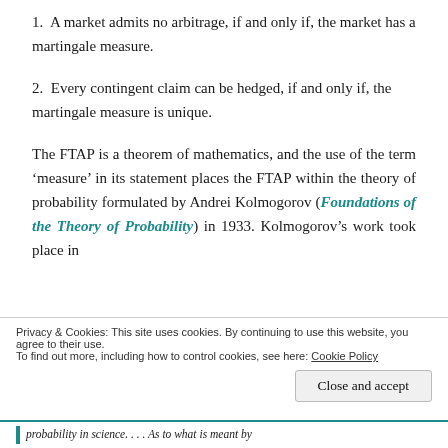1. A market admits no arbitrage, if and only if, the market has a martingale measure.
2. Every contingent claim can be hedged, if and only if, the martingale measure is unique.
The FTAP is a theorem of mathematics, and the use of the term ‘measure’ in its statement places the FTAP within the theory of probability formulated by Andrei Kolmogorov (Foundations of the Theory of Probability) in 1933. Kolmogorov’s work took place in
Privacy & Cookies: This site uses cookies. By continuing to use this website, you agree to their use.
To find out more, including how to control cookies, see here: Cookie Policy
Close and accept
probability in science. . . . As to what is meant by